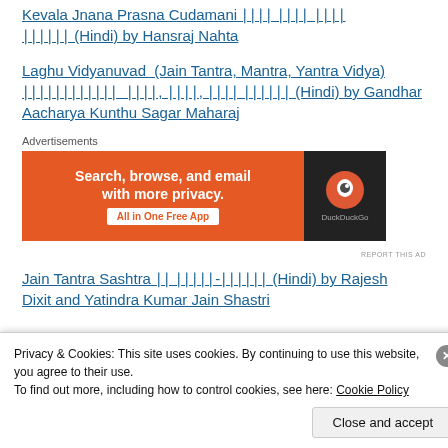Kevala Jnana Prasna Cudamani ??? ???? ???? ?????? (Hindi) by Hansraj Nahta
Laghu Vidyanuvad (Jain Tantra, Mantra, Yantra Vidya) ???????????? ???, ???, ??? ?????? (Hindi) by Gandhar Aacharya Kunthu Sagar Maharaj
[Figure (other): DuckDuckGo advertisement banner: orange left panel with text 'Search, browse, and email with more privacy. All in One Free App' and dark right panel with DuckDuckGo logo]
Jain Tantra Sashtra ?? ?????-?????? (Hindi) by Rajesh Dixit and Yatindra Kumar Jain Shastri
Privacy & Cookies: This site uses cookies. By continuing to use this website, you agree to their use.
To find out more, including how to control cookies, see here: Cookie Policy
Close and accept